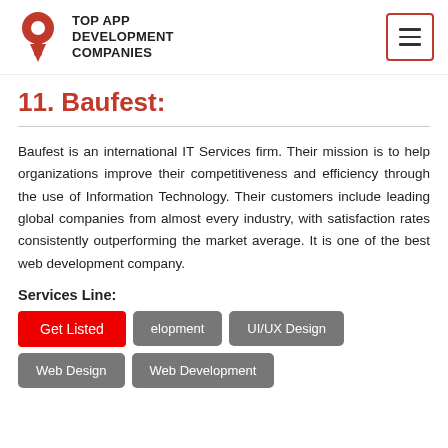TOP APP DEVELOPMENT COMPANIES
11. Baufest:
Baufest is an international IT Services firm. Their mission is to help organizations improve their competitiveness and efficiency through the use of Information Technology. Their customers include leading global companies from almost every industry, with satisfaction rates consistently outperforming the market average. It is one of the best web development company.
Services Line:
Get Listed
elopment
UI/UX Design
Web Design
Web Development